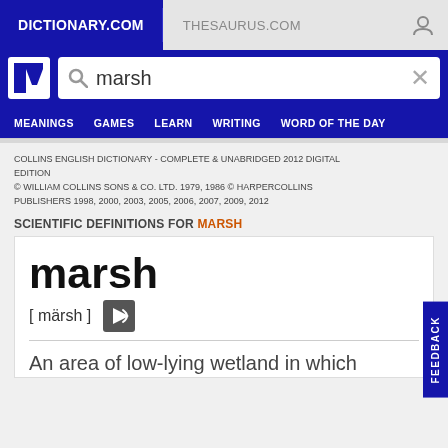DICTIONARY.COM | THESAURUS.COM
[Figure (screenshot): Dictionary.com logo — white letter D on blue background]
marsh
MEANINGS   GAMES   LEARN   WRITING   WORD OF THE DAY
COLLINS ENGLISH DICTIONARY - COMPLETE & UNABRIDGED 2012 DIGITAL EDITION
© WILLIAM COLLINS SONS & CO. LTD. 1979, 1986 © HARPERCOLLINS PUBLISHERS 1998, 2000, 2003, 2005, 2006, 2007, 2009, 2012
SCIENTIFIC DEFINITIONS FOR MARSH
marsh
[ märsh ]
An area of low-lying wetland in which